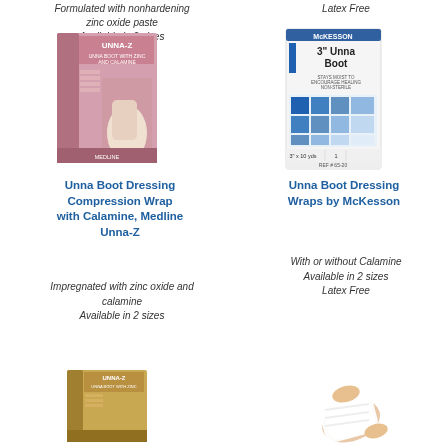Formulated with nonhardening zinc oxide paste
Available in 2 sizes
Latex Free
[Figure (photo): Medline Unna-Z Unna Boot Dressing Compression Wrap product box — pink/black packaging with image of wrapped foot/ankle]
[Figure (photo): McKesson 3 inch Unna Boot Dressing Wraps product box — white packaging with blue tile pattern]
Unna Boot Dressing Compression Wrap with Calamine, Medline Unna-Z
Unna Boot Dressing Wraps by McKesson
Impregnated with zinc oxide and calamine
Available in 2 sizes
With or without Calamine
Available in 2 sizes
Latex Free
[Figure (photo): Medline Unna-Z gold/tan product box at bottom left]
[Figure (photo): Arm/leg wrapped with white Unna Boot bandage at bottom right]